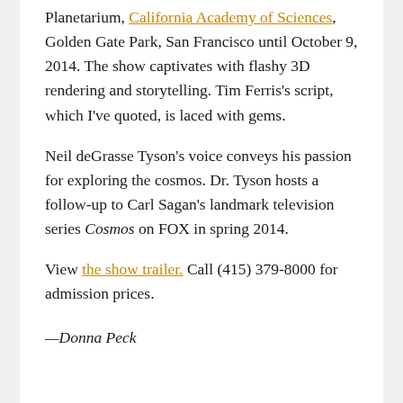Planetarium, California Academy of Sciences, Golden Gate Park, San Francisco until October 9, 2014. The show captivates with flashy 3D rendering and storytelling. Tim Ferris's script, which I've quoted, is laced with gems.
Neil deGrasse Tyson's voice conveys his passion for exploring the cosmos. Dr. Tyson hosts a follow-up to Carl Sagan's landmark television series Cosmos on FOX in spring 2014.
View the show trailer. Call (415) 379-8000 for admission prices.
—Donna Peck